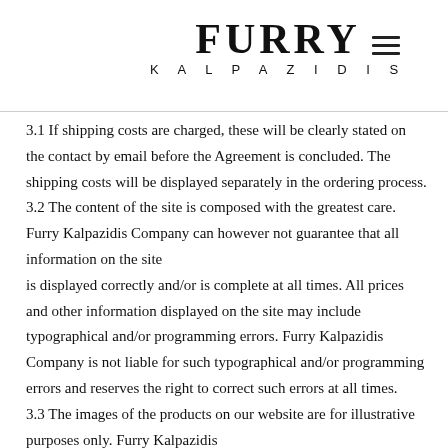FURRY KALPAZIDIS
3.1 If shipping costs are charged, these will be clearly stated on the contact by email before the Agreement is concluded. The shipping costs will be displayed separately in the ordering process.
3.2 The content of the site is composed with the greatest care. Furry Kalpazidis Company can however not guarantee that all information on the site is displayed correctly and/or is complete at all times. All prices and other information displayed on the site may include typographical and/or programming errors. Furry Kalpazidis Company is not liable for such typographical and/or programming errors and reserves the right to correct such errors at all times.
3.3 The images of the products on our website are for illustrative purposes only. Furry Kalpazidis